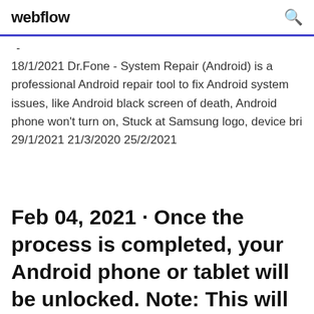webflow
- 18/1/2021 Dr.Fone - System Repair (Android) is a professional Android repair tool to fix Android system issues, like Android black screen of death, Android phone won't turn on, Stuck at Samsung logo, device bri 29/1/2021 21/3/2020 25/2/2021
Feb 04, 2021 · Once the process is completed, your Android phone or tablet will be unlocked. Note: This will surely erase all data on Android phone or tablet,